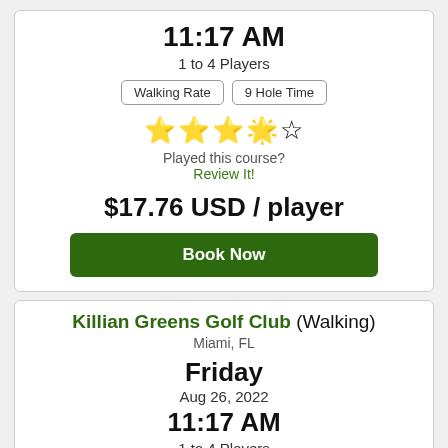11:17 AM
1 to 4 Players
Walking Rate | 9 Hole Time
[Figure (other): 3 out of 5 stars rating]
Played this course?
Review It!
$17.76 USD / player
Book Now
Killian Greens Golf Club (Walking)
Miami, FL
Friday
Aug 26, 2022
11:17 AM
1 to 4 Players